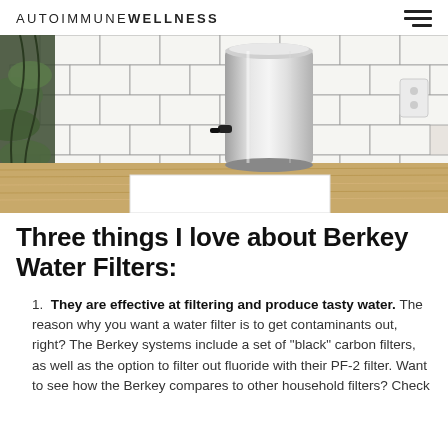AUTOIMMUNE WELLNESS
[Figure (photo): A stainless steel Berkey water filter sitting on a wooden butcher block countertop against white subway tile, with green plants visible on the left side.]
Three things I love about Berkey Water Filters:
They are effective at filtering and produce tasty water. The reason why you want a water filter is to get contaminants out, right? The Berkey systems include a set of "black" carbon filters, as well as the option to filter out fluoride with their PF-2 filter. Want to see how the Berkey compares to other household filters? Check